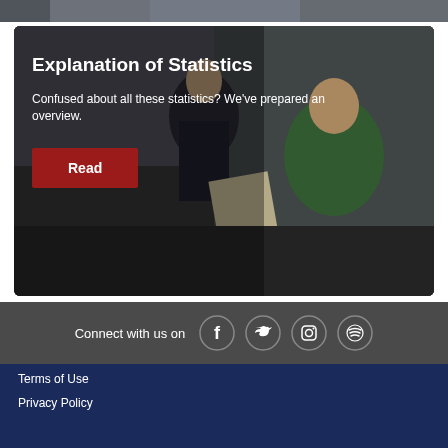[Figure (photo): Top strip of a photo showing people in an indoor setting]
[Figure (photo): Two students crouching and reviewing a document together in what appears to be a gymnasium or event space]
Explanation of Statistics
Confused about all these statistics? We've prepared an overview.
Read
Connect with us on
Terms of Use
Privacy Policy